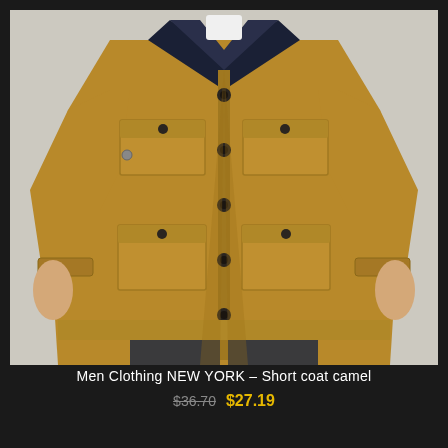[Figure (photo): A man wearing a camel/tan coloured short coat with a dark navy collar, multiple patch pockets on the front, and dark buttons. The coat has a military/utility style. The model wears a white dress shirt underneath and dark trousers. Background is light grey.]
Men Clothing NEW YORK – Short coat camel
$36.70 $27.19